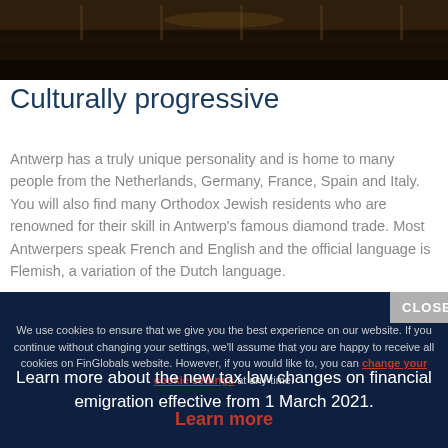[Figure (photo): Dark interior photo of what appears to be a dimly lit hall or museum]
Culturally progressive
Antwerp has a truly unique personality and is home to many people from the Netherlands, Germany, France, Spain and Italy. You will also find many Orthodox Jewish residents who are renowned for their skill in Antwerp's famous diamond trade. Most Antwerpers speak French and English and the official language is Flemish, a variation of the Dutch language.
CLOSE
We use cookies to ensure that we give you the best experience on our website. If you continue without changing your settings, we'll assume that you are happy to receive all cookies on FinGlobals website. However, if you would like to, you can change your cookie settings at any time.
Learn more about the new tax law changes on financial emigration effective from 1 March 2021.
Learn more